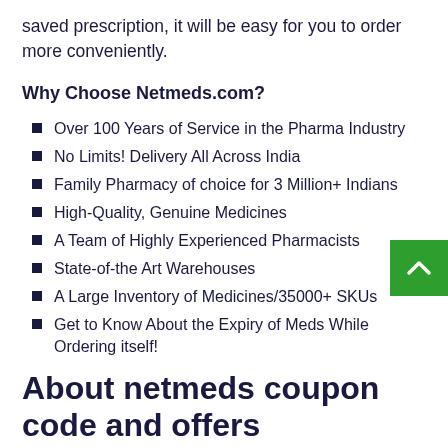saved prescription, it will be easy for you to order more conveniently.
Why Choose Netmeds.com?
Over 100 Years of Service in the Pharma Industry
No Limits! Delivery All Across India
Family Pharmacy of choice for 3 Million+ Indians
High-Quality, Genuine Medicines
A Team of Highly Experienced Pharmacists
State-of-the Art Warehouses
A Large Inventory of Medicines/35000+ SKUs
Get to Know About the Expiry of Meds While Ordering itself!
About netmeds coupon code and offers